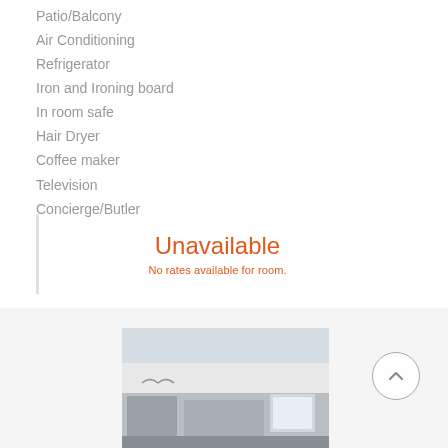Patio/Balcony
Air Conditioning
Refrigerator
Iron and Ironing board
In room safe
Hair Dryer
Coffee maker
Television
Concierge/Butler
Unavailable
No rates available for room.
[Figure (photo): Hotel room interior photograph showing bedroom/living area with neutral tones]